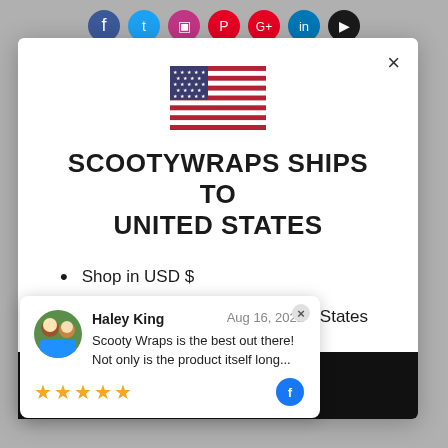[Figure (screenshot): Social media icon buttons strip at top of page background]
SCOOTYWRAPS SHIPS TO UNITED STATES
Shop in USD $
Get shipping options for United States
Shop now
[Figure (screenshot): Customer review popup card: Haley King, Aug 16, 2021, 5-star rating, 'Scooty Wraps is the best out there! Not only is the product itself long...']